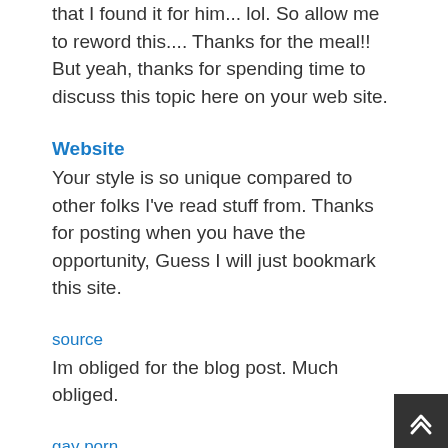that I found it for him... lol. So allow me to reword this.... Thanks for the meal!! But yeah, thanks for spending time to discuss this topic here on your web site.
Website
Your style is so unique compared to other folks I've read stuff from. Thanks for posting when you have the opportunity, Guess I will just bookmark this site.
source
Im obliged for the blog post. Much obliged.
gay porn
It's hard to come by well-informed people on this subject, but you seem like you know what you're talking about! Thanks